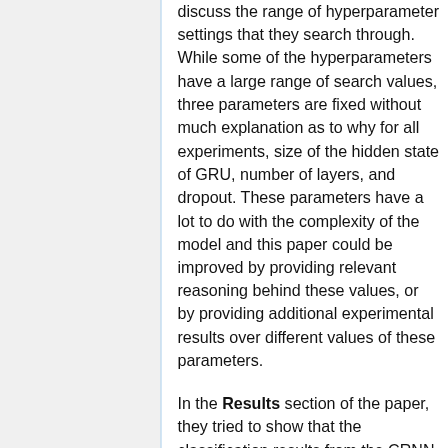discuss the range of hyperparameter settings that they search through. While some of the hyperparameters have a large range of search values, three parameters are fixed without much explanation as to why for all experiments, size of the hidden state of GRU, number of layers, and dropout. These parameters have a lot to do with the complexity of the model and this paper could be improved by providing relevant reasoning behind these values, or by providing additional experimental results over different values of these parameters.
In the Results section of the paper, they tried to show that the classification results from the CRNN model can be better interpreted than other models. In these explanations, the details were